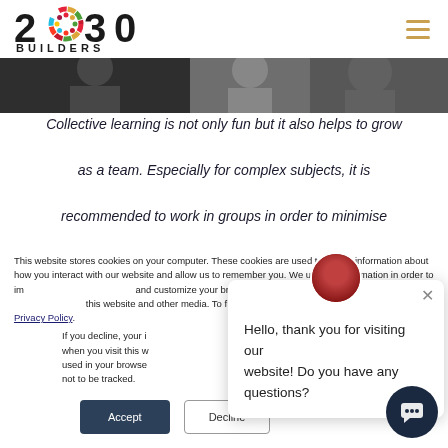2030 BUILDERS
[Figure (photo): Strip of photos showing people]
Collective learning is not only fun but it also helps to grow as a team. Especially for complex subjects, it is recommended to work in groups in order to minimise
This website stores cookies on your computer. These cookies are used to collect information about how you interact with our website and allow us to remember you. We use this information in order to improve and customize your browsing experience and for analytics and metrics about our visitors both on this website and other media. To find out more about the cookies we use, see our Privacy Policy.
If you decline, your information won't be tracked when you visit this website. A single cookie will be used in your browser to remember your preference not to be tracked.
Hello, thank you for visiting our website! Do you have any questions?